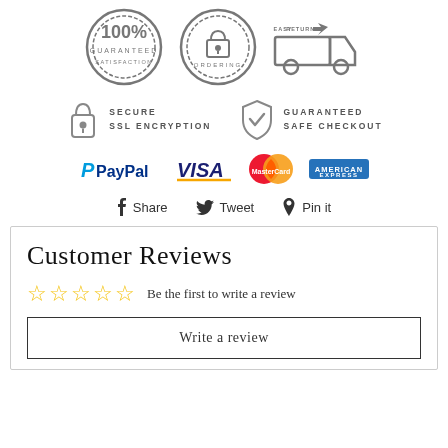[Figure (infographic): Three trust badge icons: 100% Guaranteed seal, Secure Ordering padlock seal, Easy Returns truck icon]
[Figure (infographic): Secure SSL Encryption icon with padlock and Guaranteed Safe Checkout icon with shield and checkmark]
[Figure (infographic): Payment method logos: PayPal, VISA, MasterCard, American Express]
Share   Tweet   Pin it
Customer Reviews
☆☆☆☆☆  Be the first to write a review
Write a review